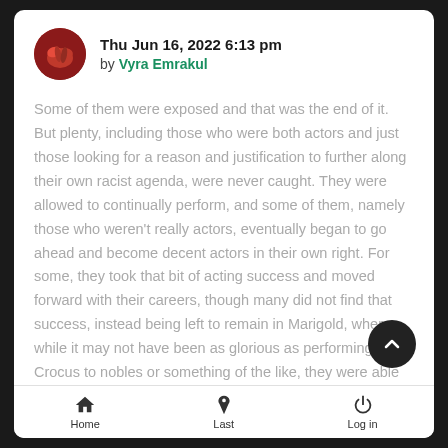Thu Jun 16, 2022 6:13 pm by Vyra Emrakul
Some of them were exposed and that was the end of it. But plenty, including those who were both actors and just those looking for a reason and justification to further along their own racist agenda, were never caught. They were allowed to continually perform, and some of them, namely those who weren't really actors, eventually began to go ahead and become decent actors in their own right. For some, they took that bit of acting success and moved forward with their careers, though many did not find that success, instead being left to remain in Marigold, where while it may not have been as glorious as performing in Crocus to nobles or something of the like, they were able to at least carve out a nice little career within Ma as a performer. And even better, they were able to further s their agenda out to whomever it was that they may have one
Home  Last  Log in